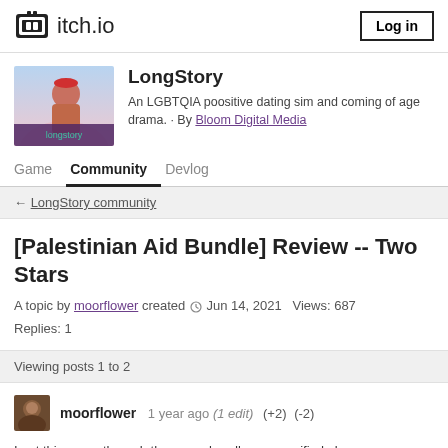itch.io  Log in
[Figure (screenshot): LongStory game thumbnail showing illustrated character with red beret, pink/blue background, with 'longstory' text overlay]
LongStory
An LGBTQIA poositive dating sim and coming of age drama. · By Bloom Digital Media
Game  Community  Devlog
← LongStory community
[Palestinian Aid Bundle] Review -- Two Stars
A topic by moorflower created Jun 14, 2021  Views: 687
Replies: 1
Viewing posts 1 to 2
moorflower  1 year ago (1 edit)  (+2)  (-2)
I got this game through the mega-bundle, as specified above